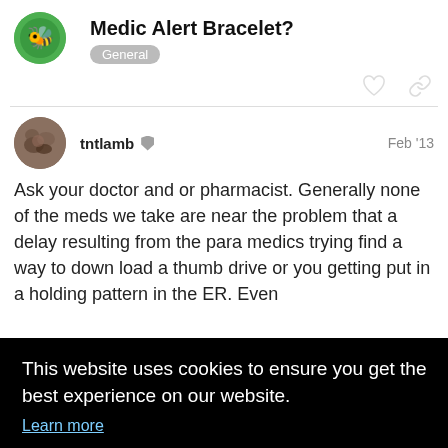Medic Alert Bracelet?
General
tntlamb  Feb '13
Ask your doctor and or pharmacist. Generally none of the meds we take are near the problem that a delay resulting from the para medics trying find a way to down load a thumb drive or you getting put in a holding pattern in the ER. Even
ons
This website uses cookies to ensure you get the best experience on our website.
Learn more
Got it!